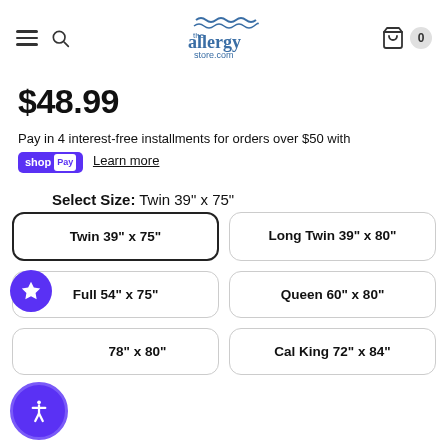the allergy store.com — navigation header with hamburger, search, logo, cart
$48.99
Pay in 4 interest-free installments for orders over $50 with shopPay Learn more
Select Size: Twin 39" x 75"
Twin 39" x 75" (selected)
Long Twin 39" x 80"
Full 54" x 75"
Queen 60" x 80"
78" x 80"
Cal King 72" x 84"